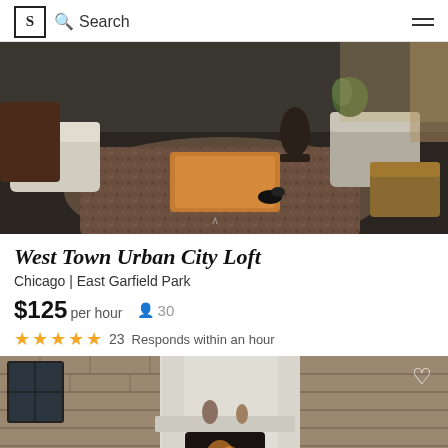S Search
[Figure (photo): Interior view of a loft living room with a patterned rug, wooden coffee table, white sofas, and dark flooring]
West Town Urban City Loft
Chicago | East Garfield Park
$125 per hour   30
★★★★★ 23   Responds within an hour
[Figure (photo): Interior of a loft space with exposed brick walls, large windows, and a white modern fireplace with burning fire and stacked firewood]